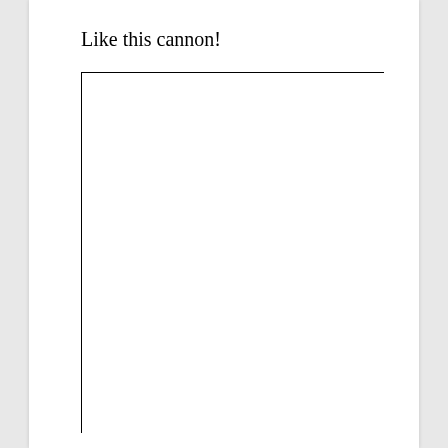Like this cannon!
[Figure (other): Empty box with top and left border lines, representing a placeholder for a cannon image.]